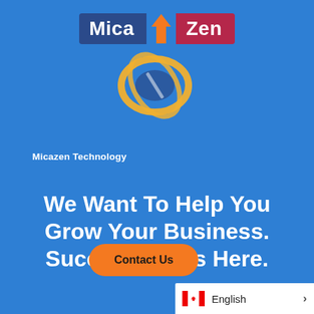[Figure (logo): MicaZen Technology logo: blue badge with 'Mica', red badge with 'Zen', orange arrow pointing up, and stylized globe/circle graphic below]
Micazen Technology
We Want To Help You Grow Your Business. Success Starts Here.
Contact Us
English